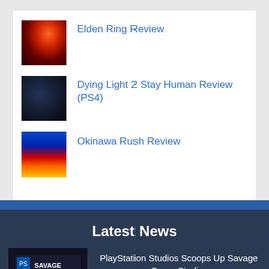Elden Ring Review
Dying Light 2 Stay Human Review (PS4)
Okinawa Rush Review
Latest News
PlayStation Studios Scoops Up Savage Game Studios
August 31, 2022